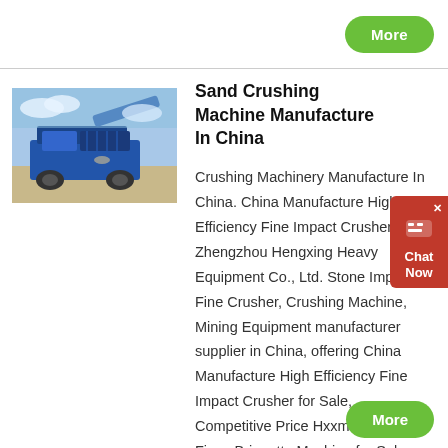More
[Figure (photo): Photo of a large blue mobile sand crushing machine on a job site]
Sand Crushing Machine Manufacture In China
Crushing Machinery Manufacture In China. China Manufacture High Efficiency Fine Impact Crusher . Zhengzhou Hengxing Heavy Equipment Co., Ltd. Stone Impact Fine Crusher, Crushing Machine, Mining Equipment manufacturer supplier in China, offering China Manufacture High Efficiency Fine Impact Crusher for Sale, Competitive Price Hxxm 650 Mineral Fines Briquette Machine for Sale, Factory